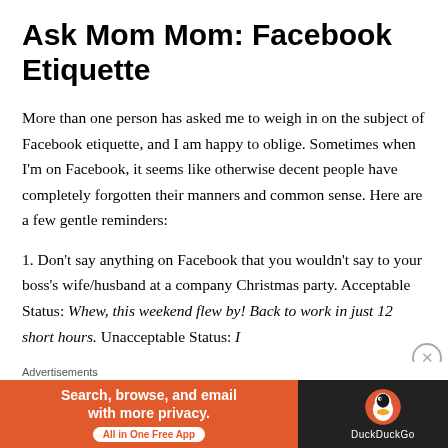Ask Mom Mom: Facebook Etiquette
More than one person has asked me to weigh in on the subject of Facebook etiquette, and I am happy to oblige. Sometimes when I'm on Facebook, it seems like otherwise decent people have completely forgotten their manners and common sense. Here are a few gentle reminders:
1. Don't say anything on Facebook that you wouldn't say to your boss's wife/husband at a company Christmas party. Acceptable Status: Whew, this weekend flew by! Back to work in just 12 short hours. Unacceptable Status: I
[Figure (other): DuckDuckGo advertisement banner: orange left panel with text 'Search, browse, and email with more privacy. All in One Free App' and dark right panel with DuckDuckGo duck logo and name.]